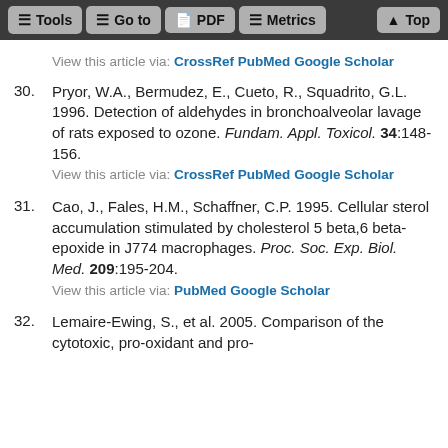Tools | Go to | PDF | Metrics | Top
View this article via: CrossRef PubMed Google Scholar
30. Pryor, W.A., Bermudez, E., Cueto, R., Squadrito, G.L. 1996. Detection of aldehydes in bronchoalveolar lavage of rats exposed to ozone. Fundam. Appl. Toxicol. 34:148-156.
View this article via: CrossRef PubMed Google Scholar
31. Cao, J., Fales, H.M., Schaffner, C.P. 1995. Cellular sterol accumulation stimulated by cholesterol 5 beta,6 beta-epoxide in J774 macrophages. Proc. Soc. Exp. Biol. Med. 209:195-204.
View this article via: PubMed Google Scholar
32. Lemaire-Ewing, S., et al. 2005. Comparison of the cytotoxic, pro-oxidant and pro-